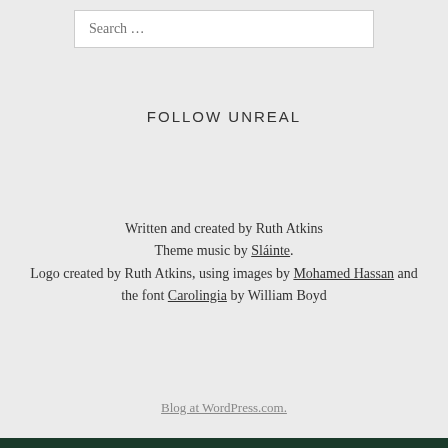[Figure (other): Search input box with placeholder text 'Search …']
FOLLOW UNREAL
Written and created by Ruth Atkins
Theme music by Sláinte.
Logo created by Ruth Atkins, using images by Mohamed Hassan and the font Carolingia by William Boyd
Blog at WordPress.com.